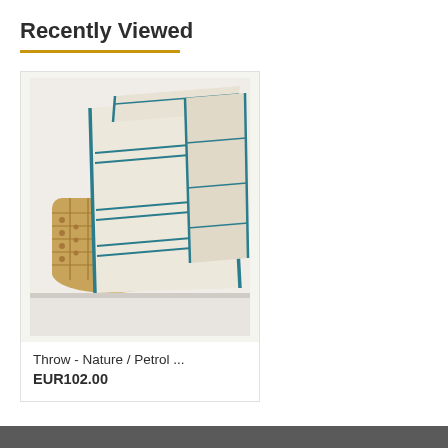Recently Viewed
[Figure (photo): A cream/natural colored throw blanket with teal/petrol blue stitched border stripes, folded and displayed in a woven straw/seagrass basket on a white surface.]
Throw - Nature / Petrol ...
EUR102.00